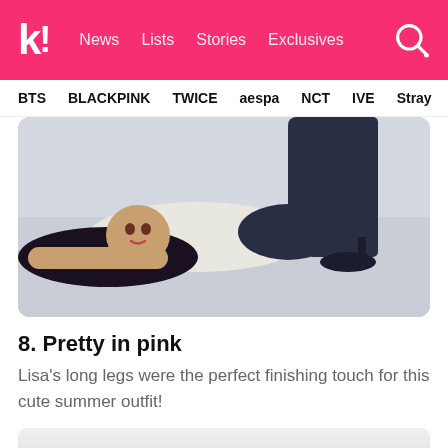k! News Lists Stories Exclusives
BTS BLACKPINK TWICE aespa NCT IVE Stray
[Figure (photo): A woman with long dark hair lying on the floor wearing a white crop top and dark shorts, with another person standing in dark jeans and high heels beside her]
8. Pretty in pink
Lisa's long legs were the perfect finishing touch for this cute summer outfit!
[Figure (photo): Partial view of another image below, appears light gray/white]